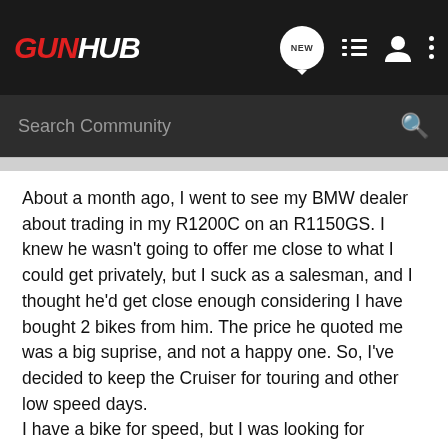GUNHUB
Search Community
About a month ago, I went to see my BMW dealer about trading in my R1200C on an R1150GS. I knew he wasn't going to offer me close to what I could get privately, but I suck as a salesman, and I thought he'd get close enough considering I have bought 2 bikes from him. The price he quoted me was a big suprise, and not a happy one. So, I've decided to keep the Cruiser for touring and other low speed days.
I have a bike for speed, but I was looking for something that would be happy on all the dirt and gravel roads around here. It seems like all the nifty old stuff worth photographing around here is on the back roads.
I was looking at a Kawasaki KLR650, and it looks like a good bike. It also doesn't hurt that the total price of the bike is